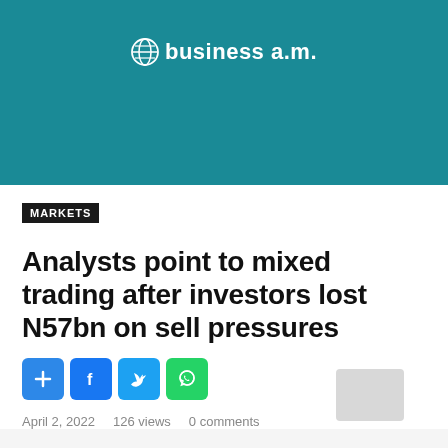[Figure (logo): Business a.m. logo with globe icon on teal background]
MARKETS
Analysts point to mixed trading after investors lost N57bn on sell pressures
[Figure (infographic): Social sharing buttons: add/bookmark, Facebook, Twitter, WhatsApp]
April 2, 2022   126 views   0 comments